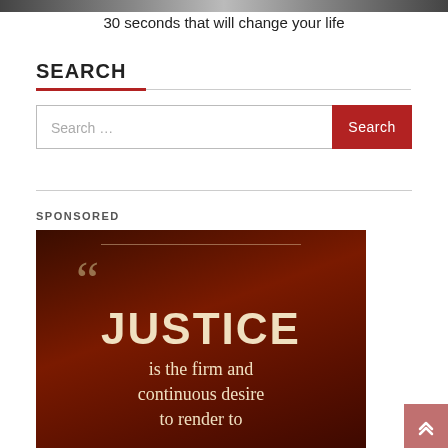[Figure (photo): Partial photo strip at top of page, likely showing a person]
30 seconds that will change your life
SEARCH
Search …
SPONSORED
[Figure (illustration): Dark brown gradient background with quote marks and text: JUSTICE is the firm and continuous desire to render to]